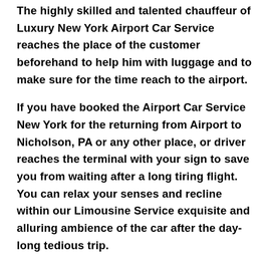The highly skilled and talented chauffeur of Luxury New York Airport Car Service reaches the place of the customer beforehand to help him with luggage and to make sure for the time reach to the airport.
If you have booked the Airport Car Service New York for the returning from Airport to Nicholson, PA or any other place, or driver reaches the terminal with your sign to save you from waiting after a long tiring flight. You can relax your senses and recline within our Limousine Service exquisite and alluring ambience of the car after the day-long tedious trip.
If you are coming to Nicholson, PA to attend the corporate meetings or business transactions, we at New York Airport Limo Service yield you the most